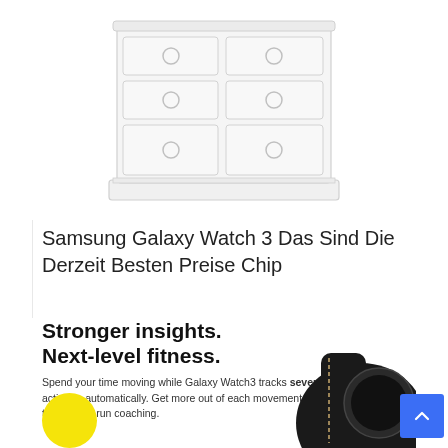[Figure (illustration): White wooden dresser/chest of drawers with ring handles, shown in a light outline illustration style against white background]
Samsung Galaxy Watch 3 Das Sind Die Derzeit Besten Preise Chip
[Figure (screenshot): Samsung Galaxy Watch3 advertisement with bold headline 'Stronger insights. Next-level fitness.' and descriptive body text about activity tracking and run coaching, with a partial image of a black Galaxy Watch3 and yellow circle element]
Spend your time moving while Galaxy Watch3 tracks seven popular activities automatically. Get more out of each movement thanks to a built-in run coaching.